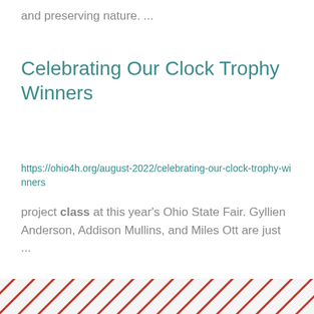and preserving nature. ...
Celebrating Our Clock Trophy Winners
https://ohio4h.org/august-2022/celebrating-our-clock-trophy-winners
project class at this year's Ohio State Fair. Gyllien Anderson, Addison Mullins, and Miles Ott are just ...
1 2 3 4 5 6 7 8 9 … next › last »